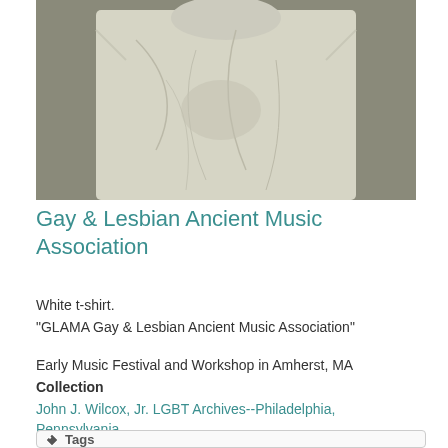[Figure (photo): Photograph of a white t-shirt laid flat, showing wrinkles and creases on the fabric against a gray background.]
Gay & Lesbian Ancient Music Association
White t-shirt.
"GLAMA Gay & Lesbian Ancient Music Association"
Early Music Festival and Workshop in Amherst, MA
Collection
John J. Wilcox, Jr. LGBT Archives--Philadelphia, Pennsylvania
Tags